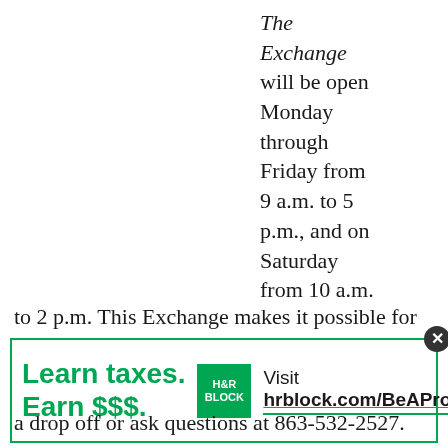The Exchange will be open Monday through Friday from 9 a.m. to 5 p.m., and on Saturday from 10 a.m. to 2 p.m. This Exchange makes it possible for us to provide services to our community and your support
[Figure (infographic): H&R Block advertisement banner with green border. Left side: 'Learn taxes. Earn $$$.' in large green bold text. Center: green H&R Block logo square. Right side: 'Visit hrblock.com/BeAPro' with green underline. Close button (X) in top right corner.]
a drop off or ask questions at 863-532-2527.